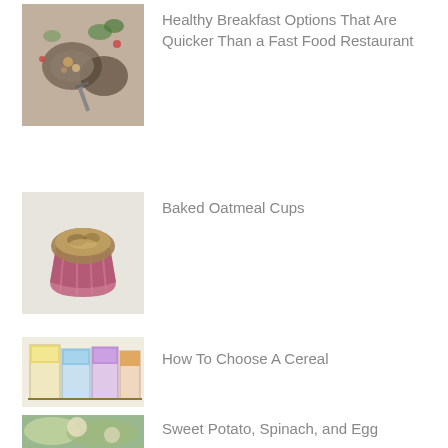[Figure (photo): Overhead shot of breakfast food items including bowls with ingredients, herbs and scissors on a wooden surface]
Healthy Breakfast Options That Are Quicker Than a Fast Food Restaurant
[Figure (photo): A baked oatmeal cup in a colorful cupcake liner on a white surface]
Baked Oatmeal Cups
[Figure (photo): Cereal boxes or cartons lined up, showing how to choose a cereal]
How To Choose A Cereal
[Figure (photo): Sweet potato, spinach and egg dish photo]
Sweet Potato, Spinach, and Egg